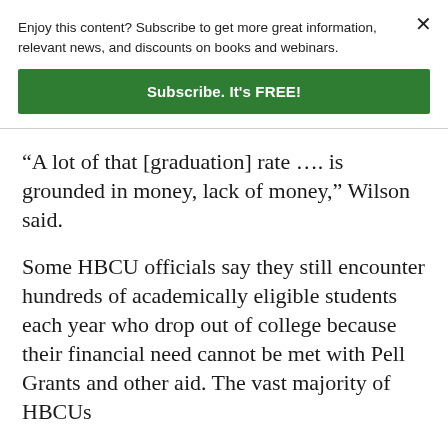Enjoy this content? Subscribe to get more great information, relevant news, and discounts on books and webinars.
Subscribe. It's FREE!
“A lot of that [graduation] rate …. is grounded in money, lack of money,” Wilson said.
Some HBCU officials say they still encounter hundreds of academically eligible students each year who drop out of college because their financial need cannot be met with Pell Grants and other aid. The vast majority of HBCUs